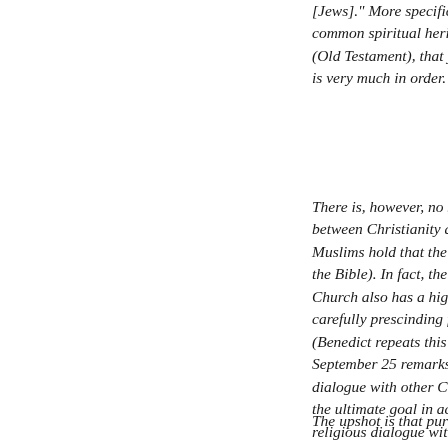[Jews]." More specifically, "common spiritual heritage," grounded in (Old Testament), that joint "bi is very much in order.
There is, however, no such "co between Christianity and Islam. Muslims hold that the Quran w the Bible). In fact, the Council Church also has a high regard carefully prescinding from any (Benedict repeats this formulat September 25 remarks.) In con dialogue with other Christians the ultimate goal in accordance religious dialogue with Jews (w theological and practical colla with Muslims is by nature limit initiatives — above all, forging avoiding conflict — that Bened chosen quotations.
The upshot is that purely theol